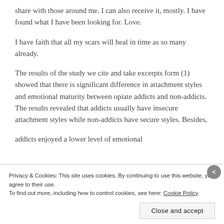share with those around me. I can also receive it, mostly. I have found what I have been looking for. Love.
I have faith that all my scars will heal in time as so many already.
The results of the study we cite and take excerpts form (1) showed that there is significant difference in attachment styles and emotional maturity between opiate addicts and non-addicts. The results revealed that addicts usually have insecure attachment styles while non-addicts have secure styles. Besides, addicts enjoyed a lower level of emotional
Privacy & Cookies: This site uses cookies. By continuing to use this website, you agree to their use.
To find out more, including how to control cookies, see here: Cookie Policy
Close and accept